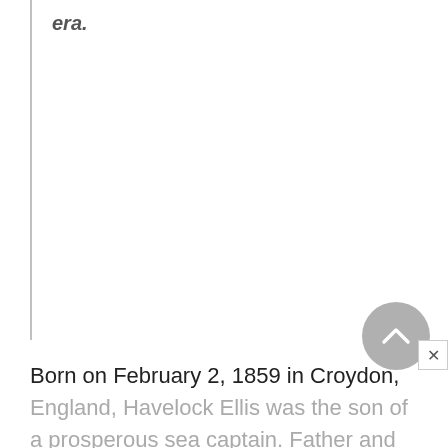era.
Born on February 2, 1859 in Croydon, England, Havelock Ellis was the son of a prosperous sea captain. Father and